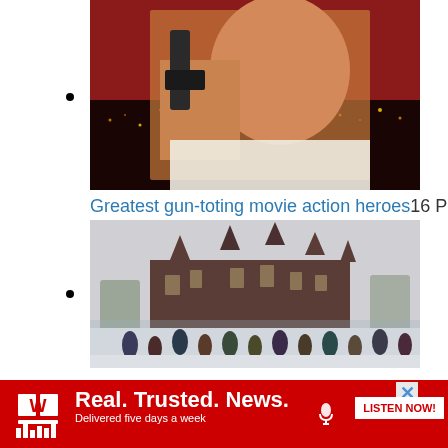[Figure (photo): Action hero movie poster — man holding a gun with city skyline and red sky background]
Greatest gun-toting movie action heroes 16 Photos
[Figure (photo): Snow-covered Smithsonian castle building with crowd of people having a snowball fight in the foreground]
[Figure (other): Advertisement banner: Front Page radio - Real. Trusted. News. Delivered five days a week. Listen Now button.]